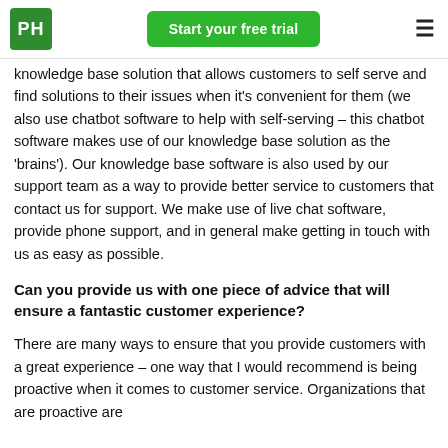PH | Start your free trial
knowledge base solution that allows customers to self serve and find solutions to their issues when it's convenient for them (we also use chatbot software to help with self-serving – this chatbot software makes use of our knowledge base solution as the 'brains'). Our knowledge base software is also used by our support team as a way to provide better service to customers that contact us for support. We make use of live chat software, provide phone support, and in general make getting in touch with us as easy as possible.
Can you provide us with one piece of advice that will ensure a fantastic customer experience?
There are many ways to ensure that you provide customers with a great experience – one way that I would recommend is being proactive when it comes to customer service. Organizations that are proactive are